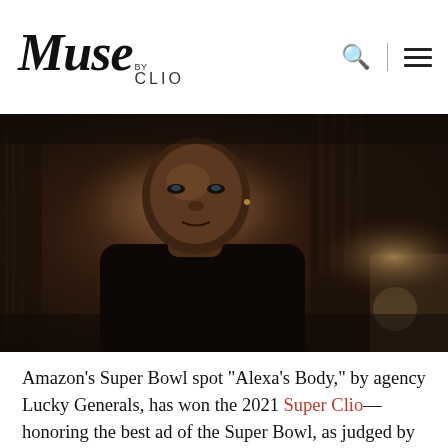Muse by CLIO
[Figure (photo): A man in a black t-shirt in a dimly lit room, cinematic still from Amazon's Super Bowl ad 'Alexa's Body']
Amazon's Super Bowl spot "Alexa's Body," by agency Lucky Generals, has won the 2021 Super Clio—honoring the best ad of the Super Bowl, as judged by top creative talent in